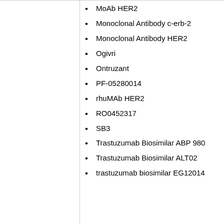MoAb HER2
Monoclonal Antibody c-erb-2
Monoclonal Antibody HER2
Ogivri
Ontruzant
PF-05280014
rhuMAb HER2
RO0452317
SB3
Trastuzumab Biosimilar ABP 980
Trastuzumab Biosimilar ALT02
trastuzumab biosimilar EG12014